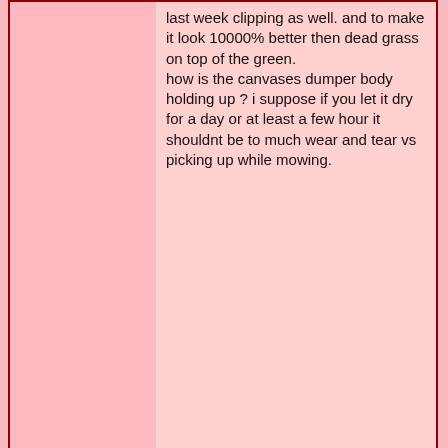last week clipping as well. and to make it look 10000% better then dead grass on top of the green.
how is the canvases dumper body holding up ? i suppose if you let it dry for a day or at least a few hour it shouldnt be to much wear and tear vs picking up while mowing.
February 18, 2019  #7
ContainerTed
Tomatovillian™
[Figure (photo): Photo of a small terrier dog (Yorkshire Terrier) standing, viewed from the side, on a light concrete surface with some green plants visible.]
I have about 3.5 acres to mow and have tried one of those sweepers. Yes, they seem to do a fair job. But since that time, I have acquired an AgFab unit with a mulcher on it that pulls right behind my mower. It compacts the clippings a little bit and I use a pitchfork to